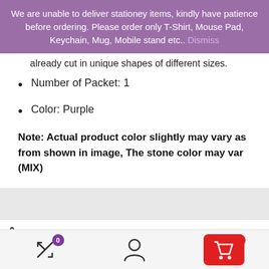We are unable to deliver stationey items, kindly have patience before ordering. Please order only T-Shirt, Mouse Pad, Keychain, Mug, Mobile stand etc.. Dismiss
already cut in unique shapes of different sizes.
Number of Packet: 1
Color: Purple
Note: Actual product color slightly may vary as from shown in image, The stone color may var (MIX)
Specification: Purple Decorative Stones
[Figure (infographic): Bottom navigation bar with compare icon (badge 0), user/account icon, and red shopping cart icon (badge 0)]